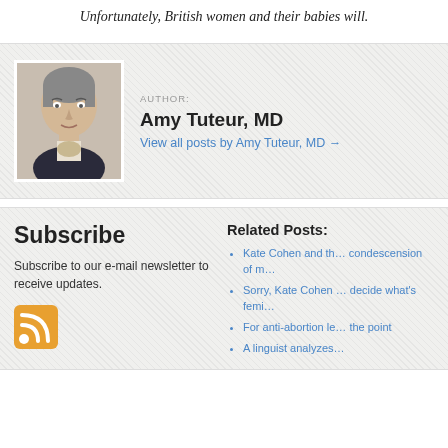Unfortunately, British women and their babies will.
[Figure (photo): Author photo of Amy Tuteur, MD — a woman with short gray hair]
AUTHOR:
Amy Tuteur, MD
View all posts by Amy Tuteur, MD →
Subscribe
Subscribe to our e-mail newsletter to receive updates.
[Figure (logo): RSS feed icon — orange square with white RSS symbol]
Related Posts:
Kate Cohen and the condescension of m…
Sorry, Kate Cohen … decide what's femi…
For anti-abortion le… the point
A linguist analyzes…